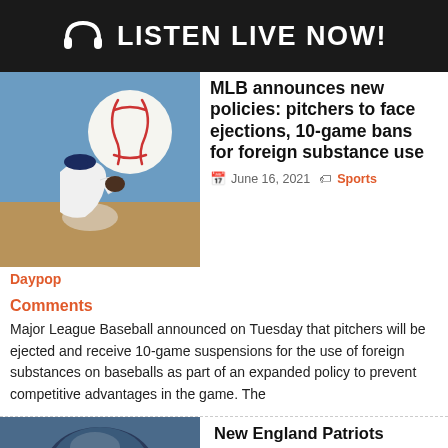LISTEN LIVE NOW!
[Figure (photo): Baseball pitcher bending down with baseball in foreground, blurred background]
MLB announces new policies: pitchers to face ejections, 10-game bans for foreign substance use
June 16, 2021   Sports
Daypop
Comments
Major League Baseball announced on Tuesday that pitchers will be ejected and receive 10-game suspensions for the use of foreign substances on baseballs as part of an expanded policy to prevent competitive advantages in the game. The
[Figure (photo): Football player photo, partially visible at bottom of page]
New England Patriots